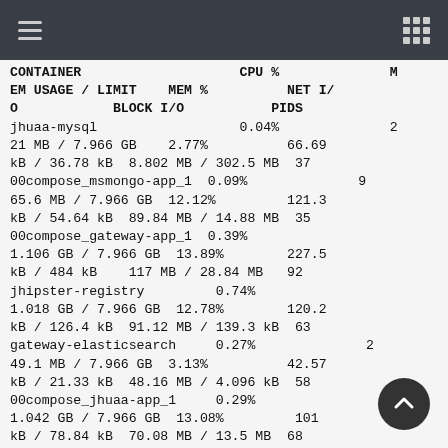≡  ⊞
| CONTAINER | CPU % | MEM USAGE / LIMIT | MEM % | NET I/O | BLOCK I/O | PIDS |
| --- | --- | --- | --- | --- | --- | --- |
| jhuaa-mysql | 0.04% | 21 MB / 7.966 GB | 2.77% | 66.69 kB / 36.78 kB | 8.802 MB / 302.5 MB | 37 |
| 00compose_msmongo-app_1 | 0.09% | 65.6 MB / 7.966 GB | 12.12% | 121.3 kB / 54.64 kB | 89.84 MB / 14.88 MB | 35 |
| 00compose_gateway-app_1 | 0.39% | 1.106 GB / 7.966 GB | 13.89% | 227.5 kB / 484 kB | 117 MB / 28.84 MB | 92 |
| jhipster-registry | 0.74% | 1.018 GB / 7.966 GB | 12.78% | 120.2 kB / 126.4 kB | 91.12 MB / 139.3 kB | 63 |
| gateway-elasticsearch | 0.27% | 49.1 MB / 7.966 GB | 3.13% | 42.57 kB / 21.33 kB | 48.16 MB / 4.096 kB | 58 |
| 00compose_jhuaa-app_1 | 0.29% | 1.042 GB / 7.966 GB | 13.08% | 101 kB / 78.84 kB | 70.08 MB / 13.5 MB | 68 |